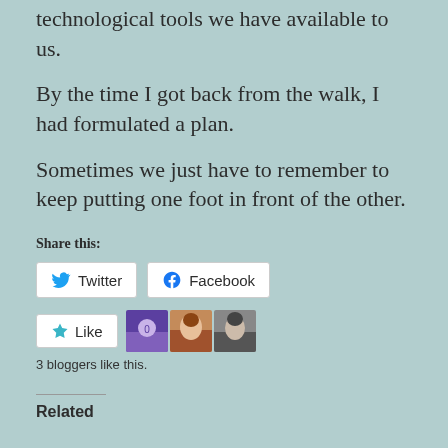technological tools we have available to us.
By the time I got back from the walk, I had formulated a plan.
Sometimes we just have to remember to keep putting one foot in front of the other.
Share this:
Twitter  Facebook
Like  3 bloggers like this.
Related